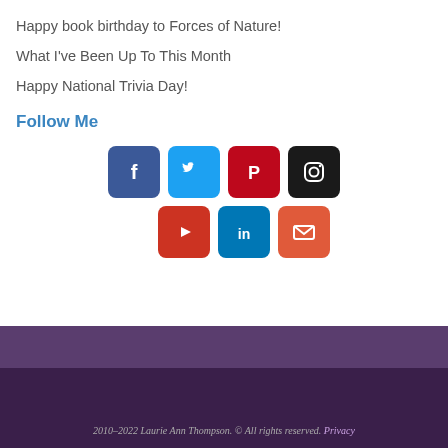Happy book birthday to Forces of Nature!
What I've Been Up To This Month
Happy National Trivia Day!
Follow Me
[Figure (infographic): Social media icon buttons: Facebook, Twitter, Pinterest, Instagram, YouTube, LinkedIn, Email]
2010–2022 Laurie Ann Thompson. © All rights reserved. Privacy